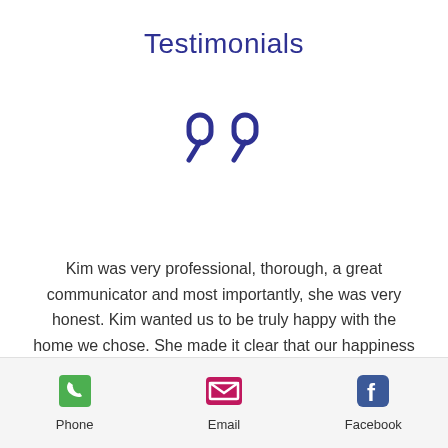Testimonials
[Figure (illustration): Large decorative closing quotation marks icon in dark navy blue outline style]
Kim was very professional, thorough, a great communicator and most importantly, she was very honest. Kim wanted us to be truly happy with the home we chose. She made it clear that our happiness was more important than the price of the home. We were very happy we chose her as our agent and any and all home purchases in our future we wouldn't consider using anyone else. Kim is very good at what she does
Phone  Email  Facebook